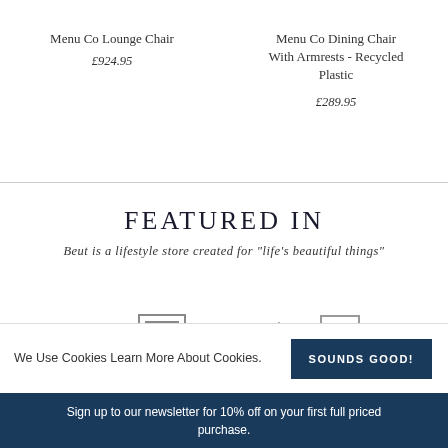Menu Co Lounge Chair
£924.95
Menu Co Dining Chair With Armrests - Recycled Plastic
£289.95
FEATURED IN
Beut is a lifestyle store created for "life's beautiful things"
[Figure (logo): Logos strip showing: Financial Times (partial), Grand Designs, Dezeen, FT box logo, THE. (partial)]
We Use Cookies Learn More About Cookies.
Sign up to our newsletter for 10% off on your first full priced purchase.